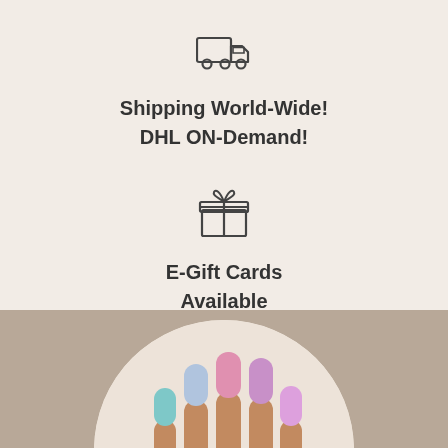[Figure (illustration): Delivery truck icon (outline style)]
Shipping World-Wide!
DHL ON-Demand!
[Figure (illustration): Gift box icon (outline style)]
E-Gift Cards
Available
[Figure (photo): Hand with colorful long nails (pink, purple, blue, mint/green) displayed in a circular crop against a beige/tan background]